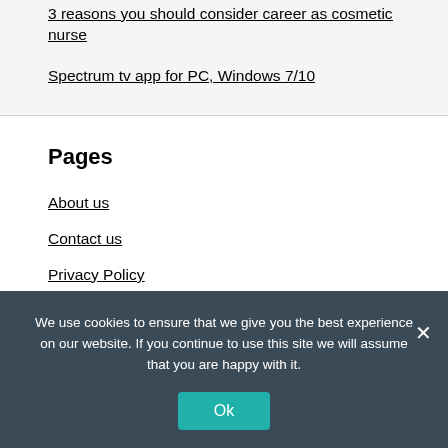3 reasons you should consider career as cosmetic nurse
Spectrum tv app for PC, Windows 7/10
Pages
About us
Contact us
Privacy Policy
We use cookies to ensure that we give you the best experience on our website. If you continue to use this site we will assume that you are happy with it.